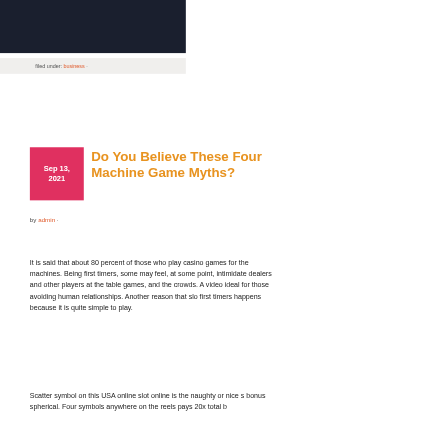[Figure (photo): Dark hero image banner at the top of the page, dark navy/charcoal background]
filed under: business ·
Do You Believe These Four Machine Game Myths?
by admin ·
It is said that about 80 percent of those who play casino games for the machines. Being first timers, some may feel, at some point, intimidate dealers and other players at the table games, and the crowds. A video ideal for those avoiding human relationships. Another reason that slo first timers happens because it is quite simple to play.
Scatter symbol on this USA online slot online is the naughty or nice s bonus spherical. Four symbols anywhere on the reels pays 20x total b